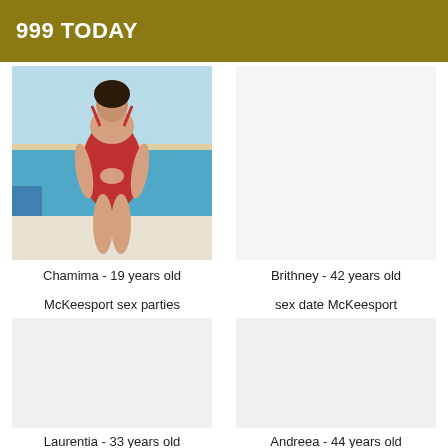999 TODAY
[Figure (photo): Person in red swimsuit near a pool]
Chamima - 19 years old
McKeesport sex parties
Brithney - 42 years old
sex date McKeesport
[Figure (photo): Empty placeholder left bottom]
Laurentia - 33 years old
[Figure (photo): Empty placeholder right bottom]
Andreea - 44 years old